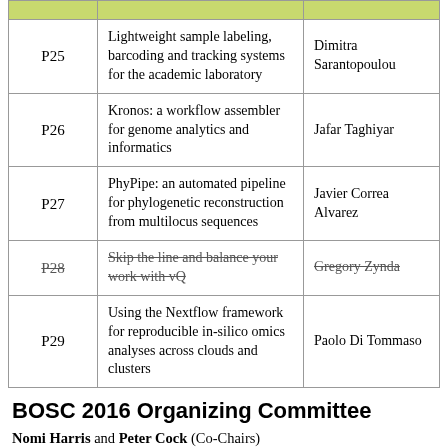|  |  |  |
| --- | --- | --- |
| P25 | Lightweight sample labeling, barcoding and tracking systems for the academic laboratory | Dimitra Sarantopoulou |
| P26 | Kronos: a workflow assembler for genome analytics and informatics | Jafar Taghiyar |
| P27 | PhyPipe: an automated pipeline for phylogenetic reconstruction from multilocus sequences | Javier Correa Alvarez |
| P28 | ~~Skip the line and balance your work with vQ~~ | ~~Gregory Zynda~~ |
| P29 | Using the Nextflow framework for reproducible in-silico omics analyses across clouds and clusters | Paolo Di Tommaso |
BOSC 2016 Organizing Committee
Nomi Harris and Peter Cock (Co-Chairs)
Brad Chapman, Chris Fields, Karsten Hokamp, Hilmar Lapp, Mónica